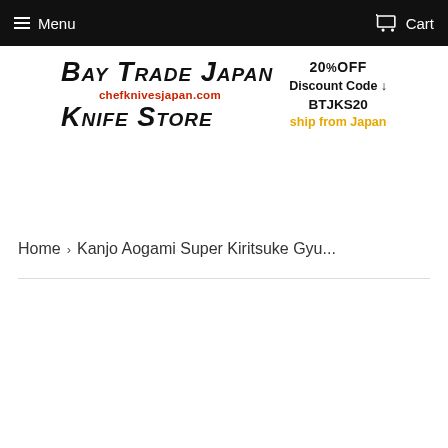Menu   Cart
[Figure (logo): Bay Trade Japan Knife Store logo with chefknivesjapan.com URL, 20%OFF Discount Code BTJKS20, ship from Japan]
Home › Kanjo Aogami Super Kiritsuke Gyu...